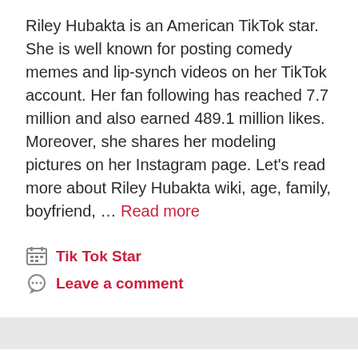Riley Hubakta is an American TikTok star. She is well known for posting comedy memes and lip-synch videos on her TikTok account. Her fan following has reached 7.7 million and also earned 489.1 million likes. Moreover, she shares her modeling pictures on her Instagram page. Let's read more about Riley Hubakta wiki, age, family, boyfriend, … Read more
Tik Tok Star
Leave a comment
Ignacia Antonia Wiki, Age